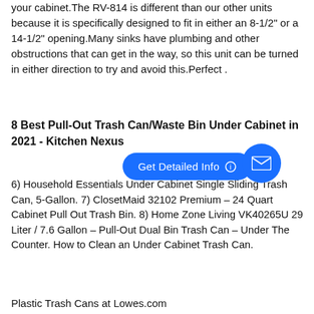your cabinet.The RV-814 is different than our other units because it is specifically designed to fit in either an 8-1/2" or a 14-1/2" opening.Many sinks have plumbing and other obstructions that can get in the way, so this unit can be turned in either direction to try and avoid this.Perfect .
8 Best Pull-Out Trash Can/Waste Bin Under Cabinet in 2021 - Kitchen Nexus
6) Household Essentials Under Cabinet Single Sliding Trash Can, 5-Gallon. 7) ClosetMaid 32102 Premium – 24 Quart Cabinet Pull Out Trash Bin. 8) Home Zone Living VK40265U 29 Liter / 7.6 Gallon – Pull-Out Dual Bin Trash Can – Under The Counter. How to Clean an Under Cabinet Trash Can.
Plastic Trash Cans at Lowes.com